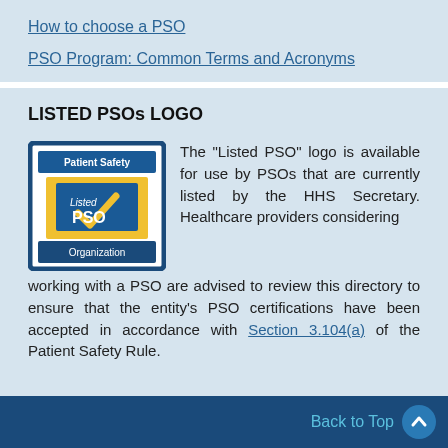How to choose a PSO
PSO Program: Common Terms and Acronyms
LISTED PSOs LOGO
[Figure (logo): Listed PSO Organization logo — blue bordered square with gold checkmark and 'Patient Safety Listed PSO Organization' text]
The "Listed PSO" logo is available for use by PSOs that are currently listed by the HHS Secretary. Healthcare providers considering working with a PSO are advised to review this directory to ensure that the entity's PSO certifications have been accepted in accordance with Section 3.104(a) of the Patient Safety Rule.
Back to Top